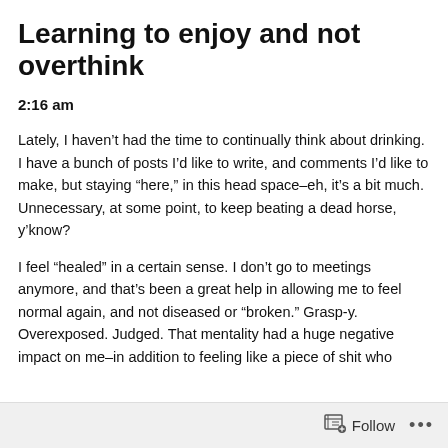Learning to enjoy and not overthink
2:16 am
Lately, I haven’t had the time to continually think about drinking. I have a bunch of posts I’d like to write, and comments I’d like to make, but staying “here,” in this head space–eh, it’s a bit much. Unnecessary, at some point, to keep beating a dead horse, y’know?
I feel “healed” in a certain sense. I don’t go to meetings anymore, and that’s been a great help in allowing me to feel normal again, and not diseased or “broken.” Grasp-y. Overexposed. Judged. That mentality had a huge negative impact on me–in addition to feeling like a piece of shit who
Follow